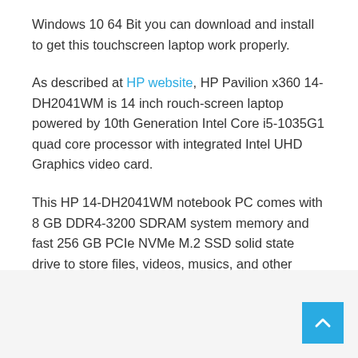Windows 10 64 Bit you can download and install to get this touchscreen laptop work properly.
As described at HP website, HP Pavilion x360 14-DH2041WM is 14 inch rouch-screen laptop powered by 10th Generation Intel Core i5-1035G1 quad core processor with integrated Intel UHD Graphics video card.
This HP 14-DH2041WM notebook PC comes with 8 GB DDR4-3200 SDRAM system memory and fast 256 GB PCIe NVMe M.2 SSD solid state drive to store files, videos, musics, and other documents.